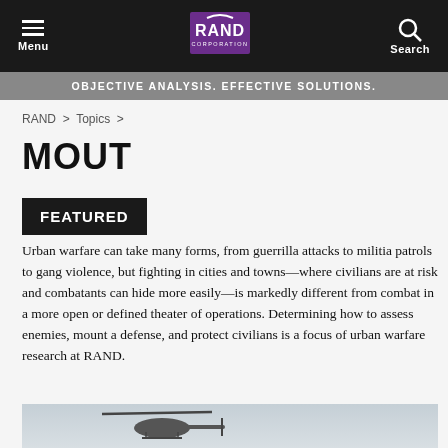Menu | RAND Corporation | Search
OBJECTIVE ANALYSIS. EFFECTIVE SOLUTIONS.
RAND > Topics >
MOUT
FEATURED
Urban warfare can take many forms, from guerrilla attacks to militia patrols to gang violence, but fighting in cities and towns—where civilians are at risk and combatants can hide more easily—is markedly different from combat in a more open or defined theater of operations. Determining how to assess enemies, mount a defense, and protect civilians is a focus of urban warfare research at RAND.
[Figure (photo): A military helicopter flying against a gray sky]